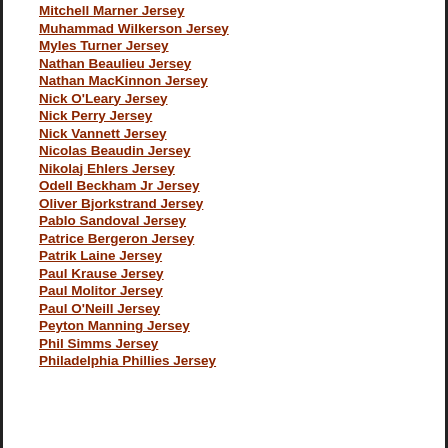Mitchell Marner Jersey
Muhammad Wilkerson Jersey
Myles Turner Jersey
Nathan Beaulieu Jersey
Nathan MacKinnon Jersey
Nick O'Leary Jersey
Nick Perry Jersey
Nick Vannett Jersey
Nicolas Beaudin Jersey
Nikolaj Ehlers Jersey
Odell Beckham Jr Jersey
Oliver Bjorkstrand Jersey
Pablo Sandoval Jersey
Patrice Bergeron Jersey
Patrik Laine Jersey
Paul Krause Jersey
Paul Molitor Jersey
Paul O'Neill Jersey
Peyton Manning Jersey
Phil Simms Jersey
Philadelphia Phillies Jersey